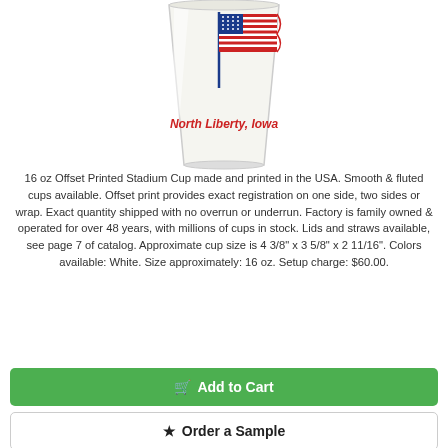[Figure (photo): A white 16 oz stadium cup with an American flag printed on it and the text 'North Liberty, Iowa' in red below the flag.]
16 oz Offset Printed Stadium Cup made and printed in the USA. Smooth & fluted cups available. Offset print provides exact registration on one side, two sides or wrap. Exact quantity shipped with no overrun or underrun. Factory is family owned & operated for over 48 years, with millions of cups in stock. Lids and straws available, see page 7 of catalog. Approximate cup size is 4 3/8" x 3 5/8" x 2 11/16". Colors available: White. Size approximately: 16 oz. Setup charge: $60.00.
Add to Cart
Order a Sample